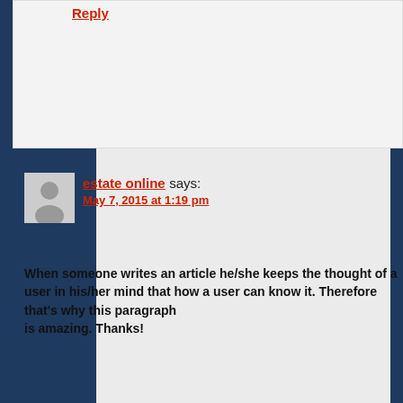Reply
estate online says:
May 7, 2015 at 1:19 pm
When someone writes an article he/she keeps the thought of a user in his/her mind that how a user can know it. Therefore that's why this paragraph
is amazing. Thanks!
Reply